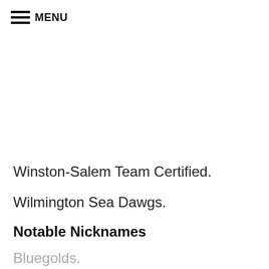MENU
Winston-Salem Team Certified.
Wilmington Sea Dawgs.
Notable Nicknames
Bluegolds.